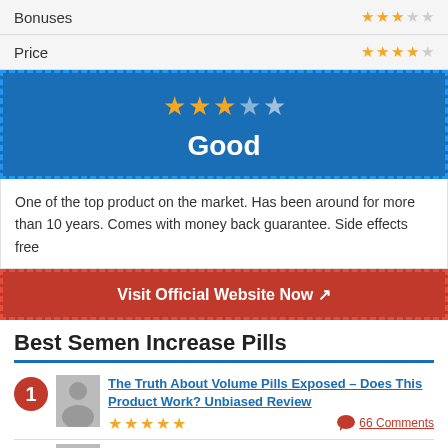| Category | Rating |
| --- | --- |
| Bonuses | 3/5 stars |
| Price | 3.5/5 stars |
[Figure (infographic): Blue dashed-border box showing 3.5 out of 5 stars rating and the word 'Good' in white text]
One of the top product on the market. Has been around for more than 10 years. Comes with money back guarantee. Side effects free
Visit Official Website Now
Best Semen Increase Pills
The Truth About Volume Pills Exposed – Does This Product Work? Unbiased Review — 4.5 stars — 66 Comments
Does Semenax Increase Semen Quantity? Full